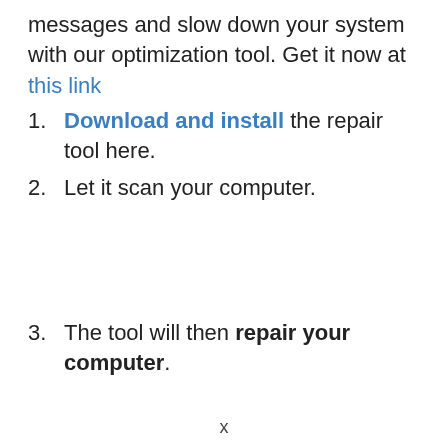messages and slow down your system with our optimization tool. Get it now at this link
Download and install the repair tool here.
Let it scan your computer.
The tool will then repair your computer.
x